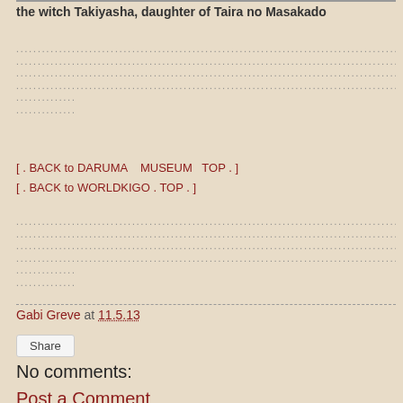the witch Takiyasha, daughter of Taira no Masakado
..............................................................................................................................................................................................................................................
[ . BACK to DARUMA   MUSEUM   TOP . ]
[ . BACK to WORLDKIGO . TOP . ]
..............................................................................................................................................................................................................................................
Gabi Greve at 11.5.13
Share
No comments:
Post a Comment